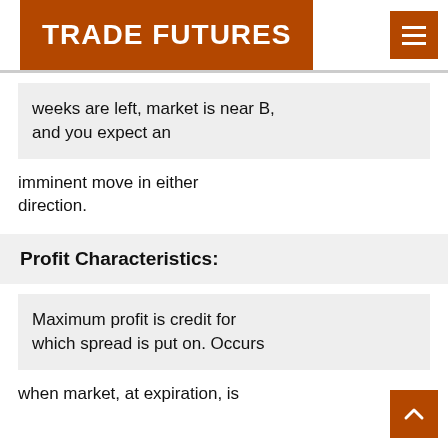TRADE FUTURES
weeks are left, market is near B, and you expect an
imminent move in either direction.
Profit Characteristics:
Maximum profit is credit for which spread is put on. Occurs
when market, at expiration, is